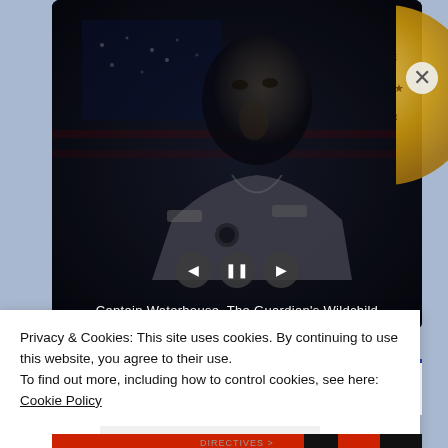[Figure (screenshot): Video player showing a military officer (Captain Waterhouse) with an American flag background, dark moody tone, with playback controls (back, pause, forward) and caption text.]
Captain Waterhouse, The Guardian's Wildchild
Advertisements
[Figure (logo): Pressable logo with blue P icon and Pressable text]
Privacy & Cookies: This site uses cookies. By continuing to use this website, you agree to their use.
To find out more, including how to control cookies, see here: Cookie Policy
Close and accept